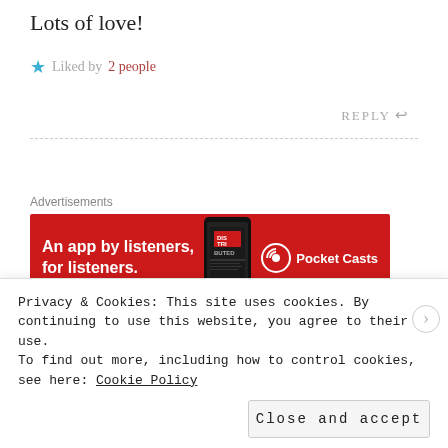Lots of love!
Liked by 2 people
REPLY
[Figure (infographic): Pocket Casts advertisement banner: red background with text 'An app by listeners, for listeners.' and Pocket Casts logo with phone image showing 'Distributed' text]
REPORT THIS AD
Fartfist says:
Privacy & Cookies: This site uses cookies. By continuing to use this website, you agree to their use. To find out more, including how to control cookies, see here: Cookie Policy
Close and accept